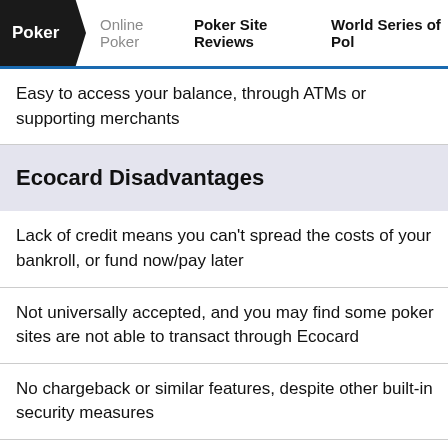Poker | Online Poker | Poker Site Reviews | World Series of Poker
Easy to access your balance, through ATMs or supporting merchants
Ecocard Disadvantages
Lack of credit means you can't spread the costs of your bankroll, or fund now/pay later
Not universally accepted, and you may find some poker sites are not able to transact through Ecocard
No chargeback or similar features, despite other built-in security measures
Deposits
Deposits from Ecocard to your account are processed